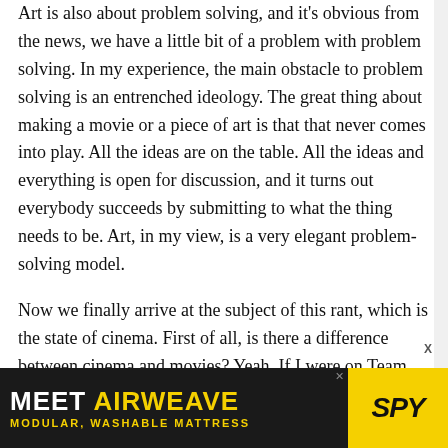Art is also about problem solving, and it's obvious from the news, we have a little bit of a problem with problem solving. In my experience, the main obstacle to problem solving is an entrenched ideology. The great thing about making a movie or a piece of art is that that never comes into play. All the ideas are on the table. All the ideas and everything is open for discussion, and it turns out everybody succeeds by submitting to what the thing needs to be. Art, in my view, is a very elegant problem-solving model.
Now we finally arrive at the subject of this rant, which is the state of cinema. First of all, is there a difference between cinema and movies? Yeah. If I were on Team America, I'd say Fuck yeah! The simplest way that I can describe it is that a movie is
[Figure (other): Advertisement banner for Airweave modular washable mattress with SPY logo. Dark background with yellow text and logo.]